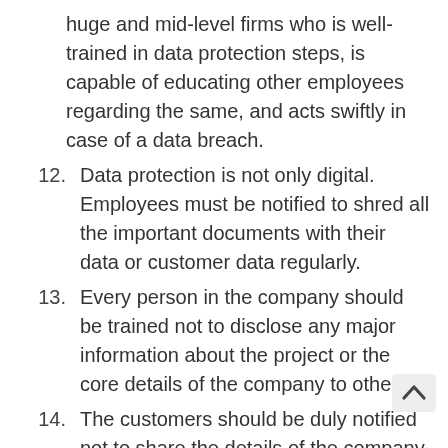huge and mid-level firms who is well-trained in data protection steps, is capable of educating other employees regarding the same, and acts swiftly in case of a data breach.
12. Data protection is not only digital. Employees must be notified to shred all the important documents with their data or customer data regularly.
13. Every person in the company should be trained not to disclose any major information about the project or the core details of the company to others.
14. The customers should be duly notified not to share the details of the company like bill number, license number, etc. They should also be advised to keep their dealings with the company private and discreet from any such documents with the...